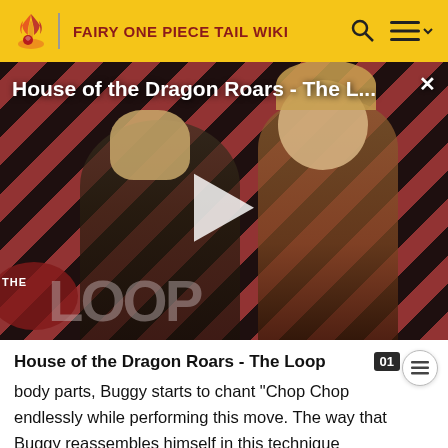FAIRY ONE PIECE TAIL WIKI
[Figure (screenshot): Video thumbnail for 'House of the Dragon Roars - The L...' with diagonal red and dark stripe background, two characters visible (armored male and blonde female), play button in center, THE LOOP logo at bottom left, close X button top right.]
House of the Dragon Roars - The Loop
body parts, Buggy starts to chant "Chop Chop endlessly while performing this move. The way that Buggy reassembles himself in this technique resembles the lengthy mecha combining sequences